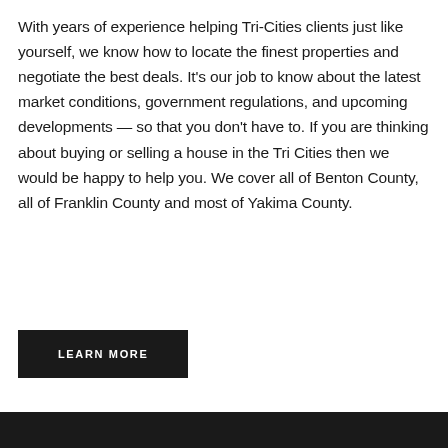With years of experience helping Tri-Cities clients just like yourself, we know how to locate the finest properties and negotiate the best deals. It's our job to know about the latest market conditions, government regulations, and upcoming developments — so that you don't have to. If you are thinking about buying or selling a house in the Tri Cities then we would be happy to help you. We cover all of Benton County, all of Franklin County and most of Yakima County.
LEARN MORE